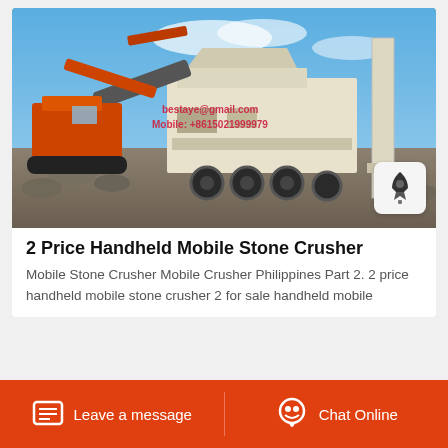[Figure (photo): Photograph of a large mobile stone crusher machine on a construction/quarry site with an orange excavator arm feeding material into the crusher. Rocky rubble visible on ground. Red text watermark: bestaye@gmail.com / Mobile: +8615021999979]
2 Price Handheld Mobile Stone Crusher
Mobile Stone Crusher Mobile Crusher Philippines Part 2. 2 price handheld mobile stone crusher 2 for sale handheld mobile
Leave a message   Chat Online